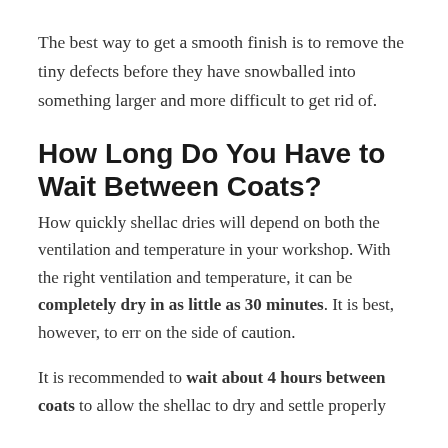The best way to get a smooth finish is to remove the tiny defects before they have snowballed into something larger and more difficult to get rid of.
How Long Do You Have to Wait Between Coats?
How quickly shellac dries will depend on both the ventilation and temperature in your workshop. With the right ventilation and temperature, it can be completely dry in as little as 30 minutes. It is best, however, to err on the side of caution.
It is recommended to wait about 4 hours between coats to allow the shellac to dry and settle properly